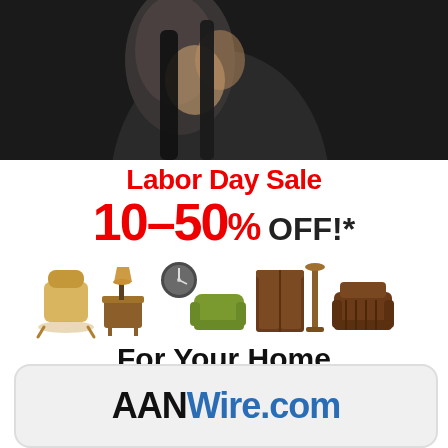[Figure (photo): Top banner ad showing a person in dark clothing with text 'SEPT 28' in cyan/teal color on dark background]
[Figure (infographic): Labor Day Sale advertisement: '10-50% OFF!*' in red, furniture images (chairs, table, lamp, clock, cabinet, armchair), 'For Your Home California Style Furnishing', 'Ends September 11th' in red bold]
[Figure (logo): AANWire.com logo in rounded rectangle box — 'AAN' in black bold, 'Wire.com' in blue bold]